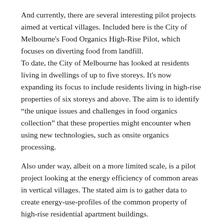And currently, there are several interesting pilot projects aimed at vertical villages. Included here is the City of Melbourne's Food Organics High-Rise Pilot, which focuses on diverting food from landfill.
To date, the City of Melbourne has looked at residents living in dwellings of up to five storeys. It's now expanding its focus to include residents living in high-rise properties of six storeys and above. The aim is to identify “the unique issues and challenges in food organics collection” that these properties might encounter when using new technologies, such as onsite organics processing.
Also under way, albeit on a more limited scale, is a pilot project looking at the energy efficiency of common areas in vertical villages. The stated aim is to gather data to create energy-use-profiles of the common property of high-rise residential apartment buildings.
However, while both pilot projects are potentially useful to vertical villages, it must be noted that “pilots ain’t pilots” – meaning that the purpose of these two pilot projects are quite different - and not simply in terms of their subject matter.